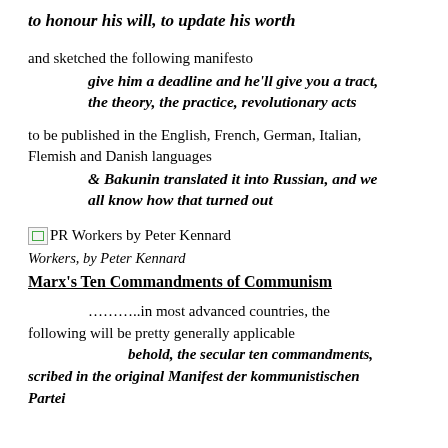to honour his will, to update his worth
and sketched the following manifesto
 give him a deadline and he'll give you a tract, the theory, the practice, revolutionary acts
to be published in the English, French, German, Italian, Flemish and Danish languages
 & Bakunin translated it into Russian, and we all know how that turned out
[Figure (photo): PR Workers by Peter Kennard — broken image placeholder with caption text]
Workers, by Peter Kennard
Marx's Ten Commandments of Communism
………..in most advanced countries, the following will be pretty generally applicable behold, the secular ten commandments, scribed in the original Manifest der kommunistischen Partei